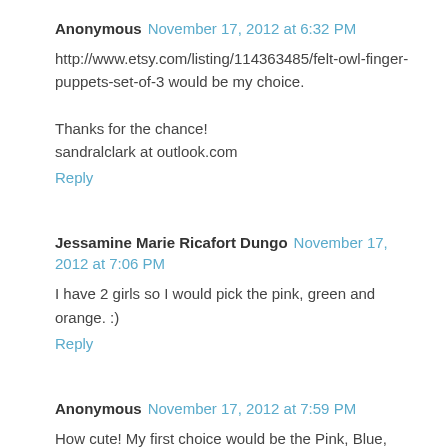Anonymous  November 17, 2012 at 6:32 PM
http://www.etsy.com/listing/114363485/felt-owl-finger-puppets-set-of-3 would be my choice.

Thanks for the chance!
sandralclark at outlook.com
Reply
Jessamine Marie Ricafort Dungo  November 17, 2012 at 7:06 PM
I have 2 girls so I would pick the pink, green and orange. :)
Reply
Anonymous  November 17, 2012 at 7:59 PM
How cute! My first choice would be the Pink, Blue, Yellow.
rsafier92(at)gmail.com